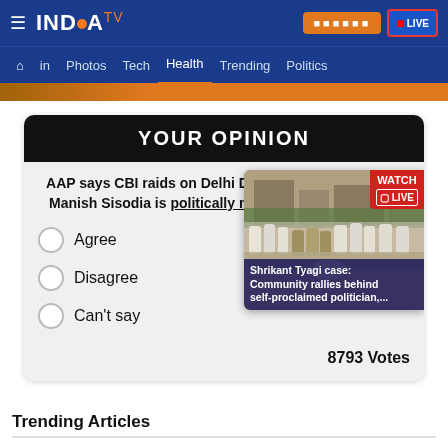INDIA TV — Navigation: Home, In, Photos, Tech, Health, Trending, Politics
YOUR OPINION
AAP says CBI raids on Delhi Deputy CM Manish Sisodia is politically motivated.
Agree
Disagree
Can't say
[Figure (photo): News thumbnail showing crowd scene with police, Shrikant Tyagi case. Caption: Shrikant Tyagi case: Community rallies behind self-proclaimed politician,...]
8793 Votes
Trending Articles